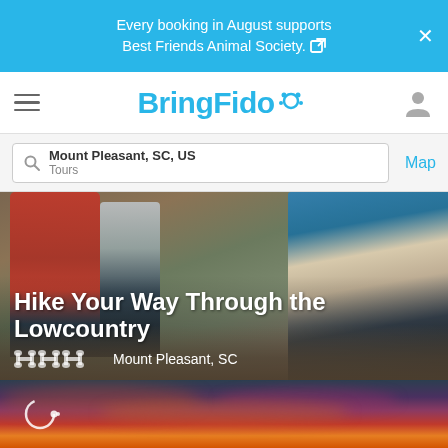Every booking in August supports Best Friends Animal Society.
[Figure (logo): BringFido logo with paw print icon]
Mount Pleasant, SC, US
Tours
Map
[Figure (photo): Group of people hiking on a trail through the Lowcountry, seen from behind, wearing winter coats and backpacks]
Hike Your Way Through the Lowcountry
Mount Pleasant, SC
[Figure (photo): Dramatic sunset sky with orange, red and purple clouds]